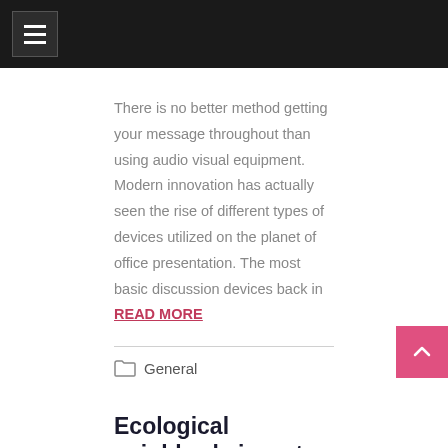There is no better method getting your message throughout than using audio visual equipment. Modern innovation has actually seen the rise of different types of devices utilized on the planet of office presentation. The most basic discussion devices back in READ MORE
General
Ecological neighborly in water removal
June 5, 2019   Amos
Water damage restoration can be an enormous aggravation. To begin with, water damage occurs